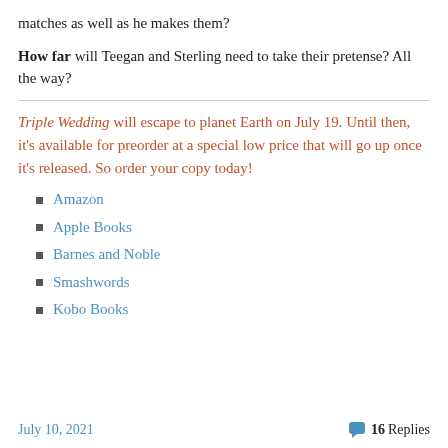matches as well as he makes them?
How far will Teegan and Sterling need to take their pretense? All the way?
Triple Wedding will escape to planet Earth on July 19. Until then, it's available for preorder at a special low price that will go up once it's released. So order your copy today!
Amazon
Apple Books
Barnes and Noble
Smashwords
Kobo Books
July 10, 2021   16 Replies